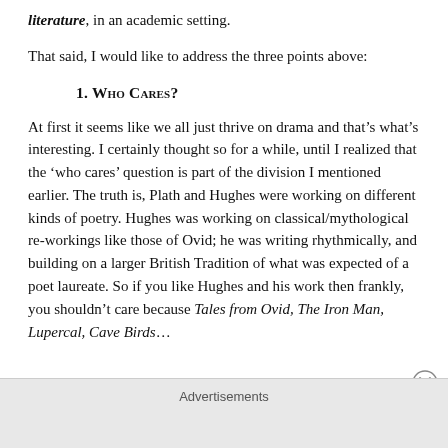literature, in an academic setting.
That said, I would like to address the three points above:
1. Who Cares?
At first it seems like we all just thrive on drama and that’s what’s interesting. I certainly thought so for a while, until I realized that the ‘who cares’ question is part of the division I mentioned earlier. The truth is, Plath and Hughes were working on different kinds of poetry. Hughes was working on classical/mythological re-workings like those of Ovid; he was writing rhythmically, and building on a larger British Tradition of what was expected of a poet laureate. So if you like Hughes and his work then frankly, you shouldn’t care because Tales from Ovid, The Iron Man, Lupercal, Cave Birds…
Advertisements